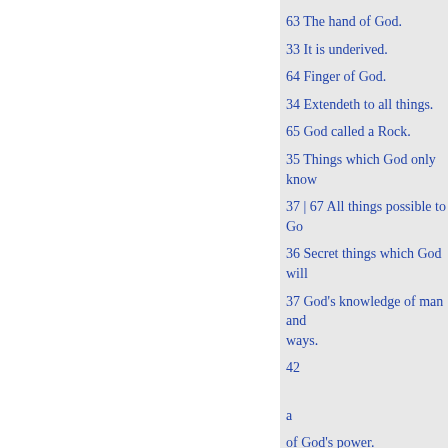63 The hand of God.
33 It is underived.
64 Finger of God.
34 Extendeth to all things.
65 God called a Rock.
35 Things which God only know
37 | 67 All things possible to Go
36 Secret things which God will
37 God's knowledge of man and ways.
42
a
of God's power.
a
Sect.
Sect.